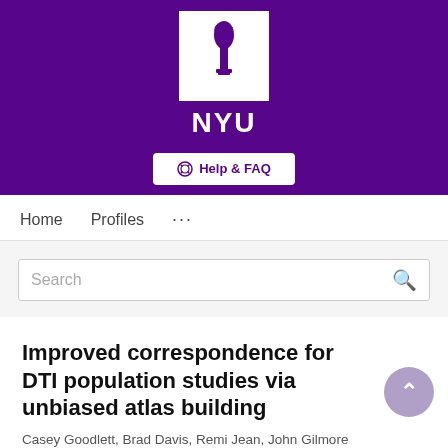[Figure (logo): NYU (New York University) logo: white torch icon in white square on purple background, with 'NYU' text in white below, and a 'Help & FAQ' button]
Home   Profiles   ...
Search
Improved correspondence for DTI population studies via unbiased atlas building
Casey Goodlett, Brad Davis, Remi Jean, John Gilmore